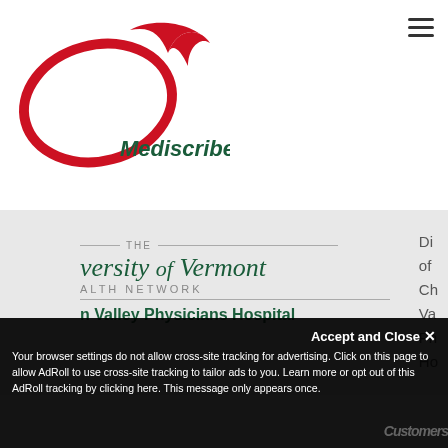[Figure (logo): Mediscribes, Inc. logo with red oval shape and dark green text]
[Figure (logo): The University of Vermont Health Network - Champlain Valley Physicians Hospital logo]
Di of Ch Va Ph Ho
Accept and Close ×
Your browser settings do not allow cross-site tracking for advertising. Click on this page to allow AdRoll to use cross-site tracking to tailor ads to you. Learn more or opt out of this AdRoll tracking by clicking here. This message only appears once.